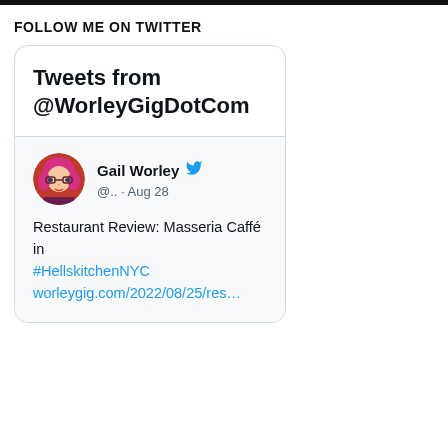FOLLOW ME ON TWITTER
[Figure (screenshot): Twitter/X widget card showing 'Tweets from @WorleyGigDotCom' header, and a tweet by Gail Worley dated Aug 28 about a restaurant review of Masseria Caffé in #HellskitchenNYC with a link to worleygig.com/2022/08/25/res...]